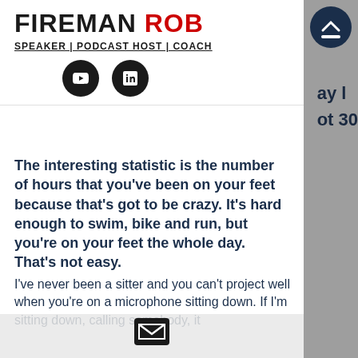FIREMAN ROB
SPEAKER | PODCAST HOST | COACH
[Figure (logo): YouTube and LinkedIn social media icon circles in black]
The interesting statistic is the number of hours that you've been on your feet because that's got to be crazy. It's hard enough to swim, bike and run, but you're on your feet the whole day. That's not easy.
I've never been a sitter and you can't project well when you're on a microphone sitting down. If I'm sitting down, calling somebody, it
[Figure (other): Email envelope icon button at bottom center]